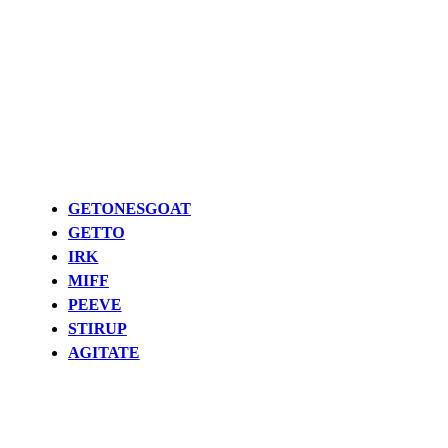GETONESGOAT
GETTO
IRK
MIFF
PEEVE
STIRUP
AGITATE